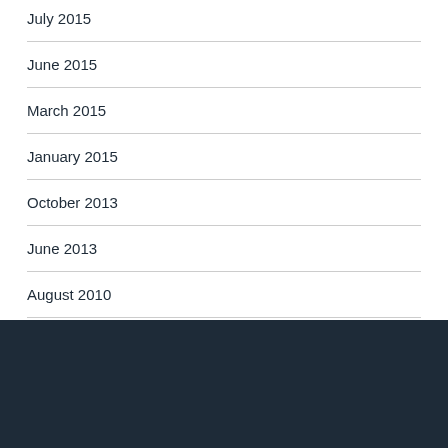July 2015
June 2015
March 2015
January 2015
October 2013
June 2013
August 2010